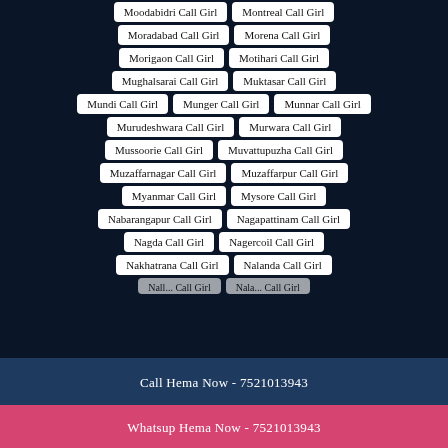Moodabidri Call Girl
Montreal Call Girl
Moradabad Call Girl
Morena Call Girl
Morigaon Call Girl
Motihari Call Girl
Mughalsarai Call Girl
Muktasar Call Girl
Mundi Call Girl
Munger Call Girl
Munnar Call Girl
Murudeshwara Call Girl
Murwara Call Girl
Mussoorie Call Girl
Muvattupuzha Call Girl
Muzaffarnagar Call Girl
Muzaffarpur Call Girl
Myanmar Call Girl
Mysore Call Girl
Nabarangapur Call Girl
Nagapattinam Call Girl
Nagda Call Girl
Nagercoil Call Girl
Nakhatrana Call Girl
Nalanda Call Girl
Call Hema Now - 7521013943
Whatsup Hema Now - 7521013943